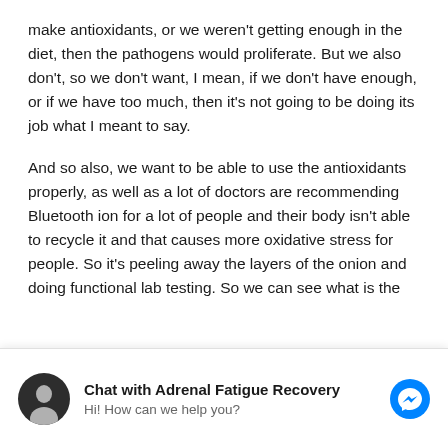make antioxidants, or we weren't getting enough in the diet, then the pathogens would proliferate. But we also don't, so we don't want, I mean, if we don't have enough, or if we have too much, then it's not going to be doing its job what I meant to say.
And so also, we want to be able to use the antioxidants properly, as well as a lot of doctors are recommending Bluetooth ion for a lot of people and their body isn't able to recycle it and that causes more oxidative stress for people. So it's peeling away the layers of the onion and doing functional lab testing. So we can see what is the
Chat with Adrenal Fatigue Recovery
Hi! How can we help you?